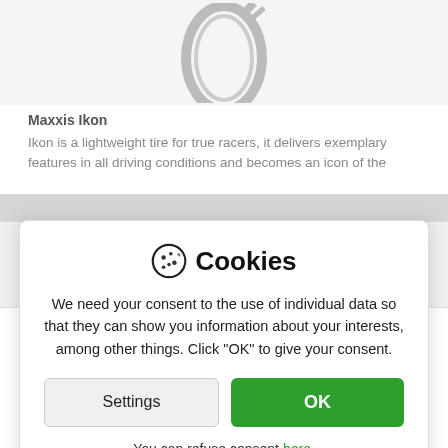[Figure (photo): Partial view of a bicycle tire product image (Maxxis Ikon) shown at top, partially cut off]
Maxxis Ikon
Ikon is a lightweight tire for true racers, it delivers exemplary features in all driving conditions and becomes an icon of the
Cookies
We need your consent to the use of individual data so that they can show you information about your interests, among other things. Click "OK" to give your consent.
Settings
OK
You can refuse consent here.
Maxxis Rekon Race EXO TR
plášt na horské kolo
Quick and light tire with a fine pattern suitable for racing use